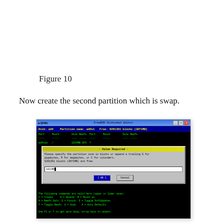Figure 10
Now create the second partition which is swap.
[Figure (screenshot): FreeBSD DiskLabel Editor terminal screenshot showing a dialog box titled 'Value Required' asking to specify partition size in blocks or append G for gigabytes, M for megabytes, or C for cylinders. The input field shows '1024M'. Disk is ad0, Partition name is ad0s1, Free: 6291361 blocks (3071MB). An existing partition ad0s1a is shown mounted at / with 1024MB UFS. Dialog has OK and Cancel buttons. Bottom shows command options.]